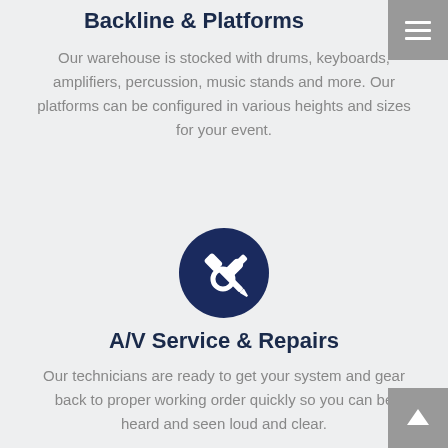Backline & Platforms
Our warehouse is stocked with drums, keyboards, amplifiers, percussion, music stands and more. Our platforms can be configured in various heights and sizes for your event.
[Figure (illustration): Dark navy blue circle icon with white wrench and screwdriver crossed symbol]
A/V Service & Repairs
Our technicians are ready to get your system and gear back to proper working order quickly so you can be heard and seen loud and clear.